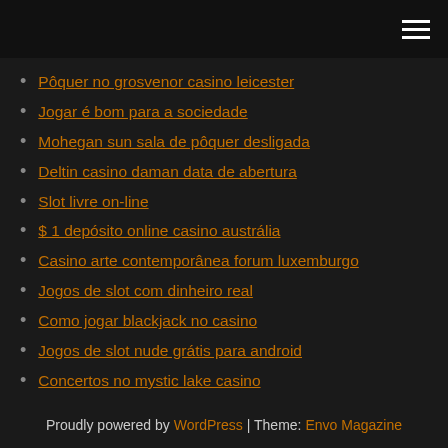[hamburger menu icon]
Pôquer no grosvenor casino leicester
Jogar é bom para a sociedade
Mohegan sun sala de pôquer desligada
Deltin casino daman data de abertura
Slot livre on-line
$ 1 depósito online casino austrália
Casino arte contemporânea forum luxemburgo
Jogos de slot com dinheiro real
Como jogar blackjack no casino
Jogos de slot nude grátis para android
Concertos no mystic lake casino
Proudly powered by WordPress | Theme: Envo Magazine